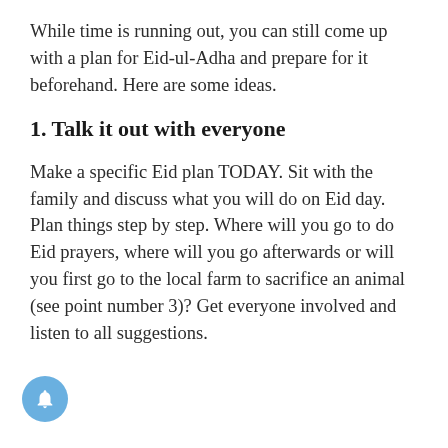While time is running out, you can still come up with a plan for Eid-ul-Adha and prepare for it beforehand. Here are some ideas.
1. Talk it out with everyone
Make a specific Eid plan TODAY. Sit with the family and discuss what you will do on Eid day. Plan things step by step. Where will you go to do Eid prayers, where will you go afterwards or will you first go to the local farm to sacrifice an animal (see point number 3)? Get everyone involved and listen to all suggestions.